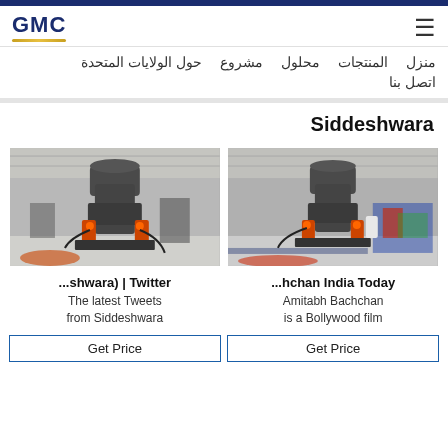GMC
منزل حول الولايات المتحدة مشروع محلول المنتجات
اتصل بنا
Siddeshwara
[Figure (photo): Industrial grinding mill machine in a large factory warehouse, grey cylindrical machine with orange hydraulic components on the base]
...shwara) | Twitter
The latest Tweets from Siddeshwara
[Figure (photo): Industrial grinding mill machine in a large factory warehouse, similar grey cylindrical machine with orange components, colorful background]
...hchan India Today
Amitabh Bachchan is a Bollywood film
Get Price
Get Price